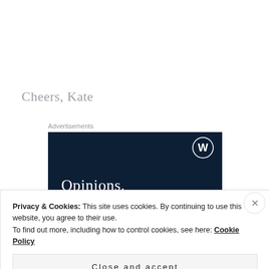Cheers, Kate
Advertisements
[Figure (other): WordPress advertisement banner with dark navy background, WordPress logo (W in circle) at top right, and text 'Opinions.' in large white serif font]
Privacy & Cookies: This site uses cookies. By continuing to use this website, you agree to their use.
To find out more, including how to control cookies, see here: Cookie Policy
Close and accept